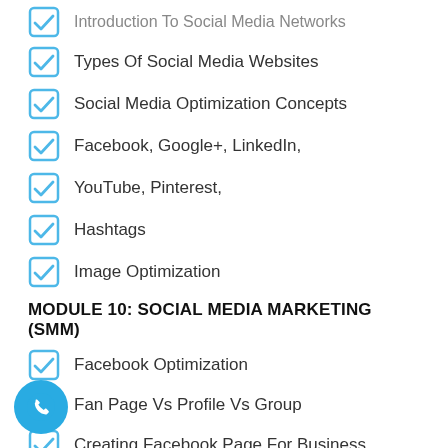Introduction To Social Media Networks
Types Of Social Media Websites
Social Media Optimization Concepts
Facebook, Google+, LinkedIn,
YouTube, Pinterest,
Hashtags
Image Optimization
MODULE 10: SOCIAL MEDIA MARKETING (SMM)
Facebook Optimization
Fan Page Vs Profile Vs Group
Creating Facebook Page For Business
Increasing Fans And Doing Marketing
Facebook Analytics
Facebook Advertising And Its Types In Detail